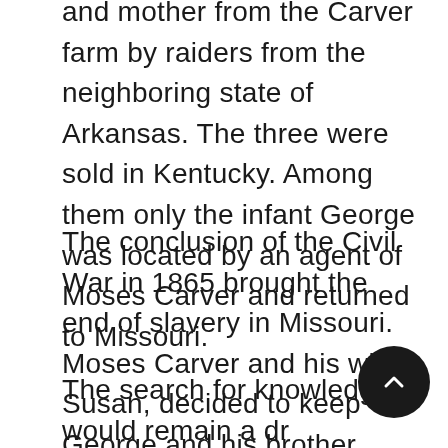and mother from the Carver farm by raiders from the neighboring state of Arkansas. The three were sold in Kentucky. Among them only the infant George was located by an agent of Moses Carver and returned to Missouri.
The conclusion of the Civil War in 1865 brought the end of slavery in Missouri. Moses Carver and his wife, Susan, decided to keep George and his brother James at their home after that time, raising and educating the two boys. Susan Carver taught George to read and write, since no local school would accept black students at the time.
The search for knowledge would remain a driving force for the rest of George's life. As a young